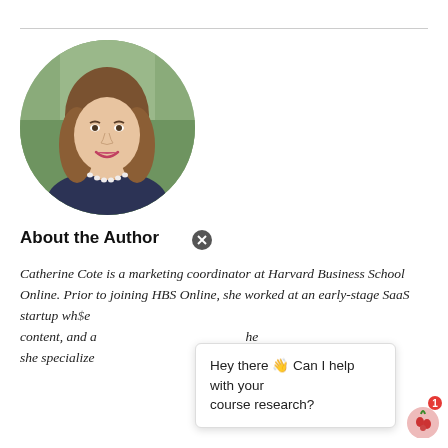[Figure (photo): Circular headshot of a young woman with long brown hair, wearing a dark navy top and pearl necklace, smiling, with a blurred outdoor background.]
About the Author
Catherine Cote is a marketing coordinator at Harvard Business School Online. Prior to joining HBS Online, she worked at an early-stage SaaS startup wh[e] ... content, and a[...] her she specialize[...] fro[m]...